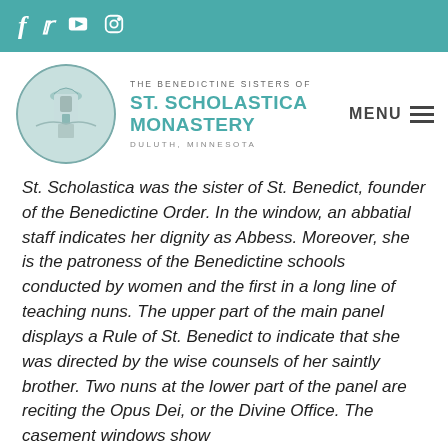f  tw  yt  ig (social media icons)
[Figure (logo): Circular logo with monastery building illustration in teal/grey tones]
THE BENEDICTINE SISTERS OF
ST. SCHOLASTICA MONASTERY
DULUTH, MINNESOTA
MENU
St. Scholastica was the sister of St. Benedict, founder of the Benedictine Order. In the window, an abbatial staff indicates her dignity as Abbess. Moreover, she is the patroness of the Benedictine schools conducted by women and the first in a long line of teaching nuns. The upper part of the main panel displays a Rule of St. Benedict to indicate that she was directed by the wise counsels of her saintly brother. Two nuns at the lower part of the panel are reciting the Opus Dei, or the Divine Office. The casement windows show